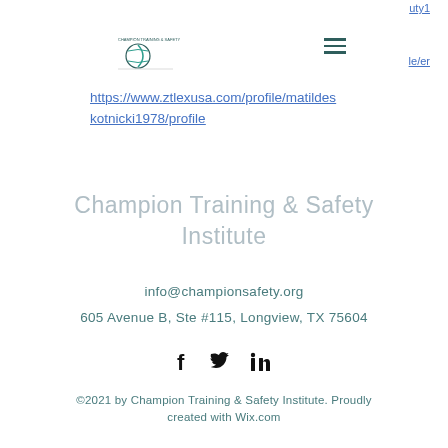uty1
[Figure (logo): Champion Training & Safety Institute logo with stylized C and leaf/globe icon]
[Figure (other): Hamburger menu icon (three horizontal lines)]
le/er
https://www.ztlexusa.com/profile/matildeskotnicki1978/profile
Champion Training & Safety Institute
info@championsafety.org
605 Avenue B, Ste #115, Longview, TX 75604
[Figure (other): Social media icons: Facebook (f), Twitter (bird), LinkedIn (in)]
©2021 by Champion Training & Safety Institute. Proudly created with Wix.com